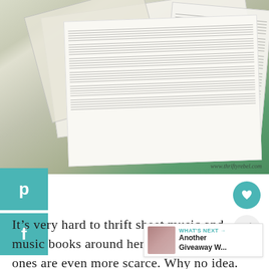[Figure (photo): Photo of open Christmas sheet music books and loose sheet music pages scattered on a green surface. The books show musical notation/staff lines. Watermark reads www.thriftyrebel.com]
[Figure (other): Pinterest share button (teal/cyan background with P icon)]
[Figure (other): Facebook share button (teal/cyan background with f icon)]
[Figure (other): Heart/favorite button (teal circle with heart icon)]
[Figure (other): Share button (light grey circle with share icon)]
It’s very hard to thrift sheet music and music books around here, and Christmas ones are even more scarce. Why no idea.
WHAT’S NEXT → Another Giveaway W...